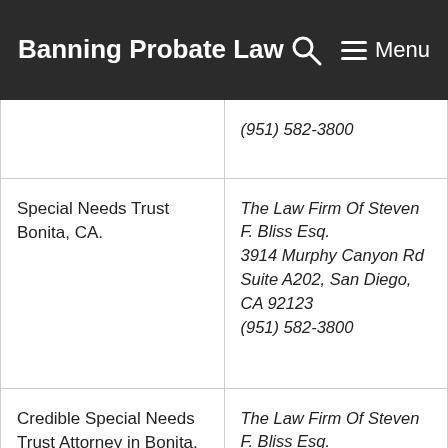Banning Probate Law
|  |  |
| --- | --- |
|  | (951) 582-3800 |
| Special Needs Trust Bonita, CA. | The Law Firm Of Steven F. Bliss Esq.
3914 Murphy Canyon Rd Suite A202, San Diego, CA 92123
(951) 582-3800 |
| Credible Special Needs Trust Attorney in Bonita, ca. | The Law Firm Of Steven F. Bliss Esq.
3914 Murphy Canyon Rd Suite A202, San Diego, CA 92123 |